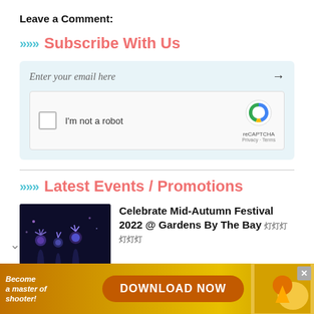Leave a Comment:
Subscribe With Us
Enter your email here
[Figure (screenshot): reCAPTCHA widget with checkbox labeled 'I'm not a robot' and reCAPTCHA logo, Privacy · Terms links]
Latest Events / Promotions
Celebrate Mid-Autumn Festival 2022 @ Gardens By The Bay 灯笼灯
[Figure (photo): Night photo of Gardens By The Bay supertrees with purple/blue lighting]
[Figure (screenshot): Advertisement banner: 'Become a master of shooter! DOWNLOAD NOW' with orange button and game graphics]